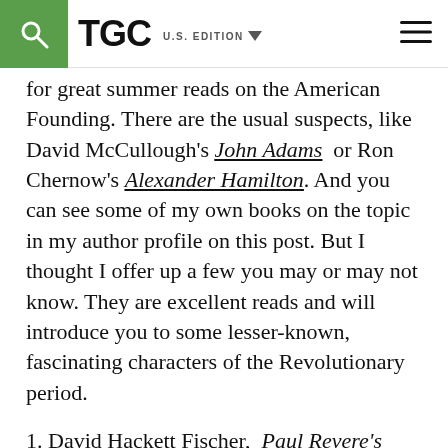TGC  U.S. EDITION
for great summer reads on the American Founding. There are the usual suspects, like David McCullough's John Adams or Ron Chernow's Alexander Hamilton. And you can see some of my own books on the topic in my author profile on this post. But I thought I offer up a few you may or may not know. They are excellent reads and will introduce you to some lesser-known, fascinating characters of the Revolutionary period.
1. David Hackett Fischer, Paul Revere's Ride (1994). Fischer's evocative story places Revere in his proper colonial context. After